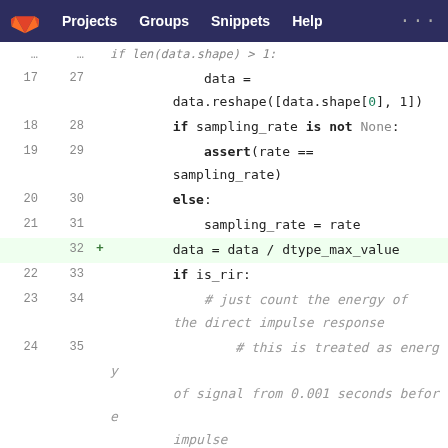GitLab navigation: Projects | Groups | Snippets | Help | ...
[Figure (screenshot): GitLab code diff view showing Python source code with line numbers. Lines 17-36 (old) / 27-47 (new) showing data reshaping, sampling rate checks, assert statements, RIR energy counting comments, and normalize function diff hunk.]